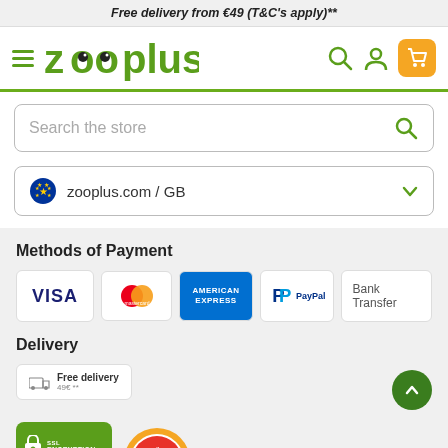Free delivery from €49 (T&C's apply)**
[Figure (logo): Zooplus logo with hamburger menu, search, account and cart icons]
[Figure (screenshot): Search bar with text 'Search the store' and search icon]
[Figure (screenshot): Region selector showing EU flag and 'zooplus.com / GB' with dropdown chevron]
Methods of Payment
[Figure (infographic): Payment method logos: VISA, Mastercard, American Express, PayPal, Bank Transfer]
Delivery
[Figure (infographic): Delivery badge with truck icon and 'Free delivery 49€ **']
[Figure (infographic): SSL Encryption badge and Geprüfter trust badge partially visible at bottom]